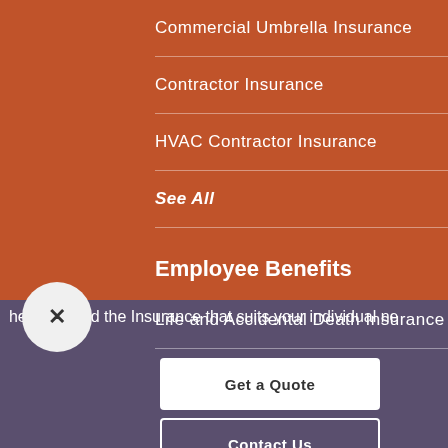Commercial Umbrella Insurance
Contractor Insurance
HVAC Contractor Insurance
See All
Employee Benefits
Life and Accidental Death Insurance
help you find the Insurance that suits your individual ne
Get a Quote
Contact Us